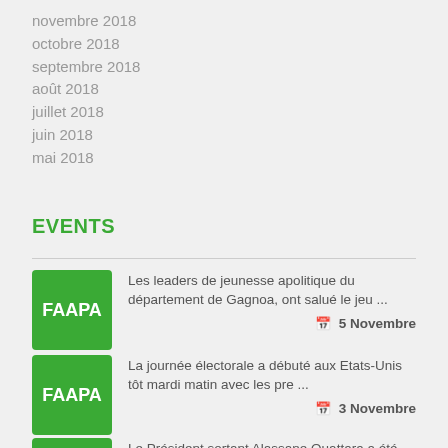novembre 2018
octobre 2018
septembre 2018
août 2018
juillet 2018
juin 2018
mai 2018
EVENTS
Les leaders de jeunesse apolitique du département de Gagnoa, ont salué le jeu ... 5 Novembre
La journée électorale a débuté aux Etats-Unis tôt mardi matin avec les pre ... 3 Novembre
Le Président sortant Alassane Ouattara a été élu au premier tour de l'élec ...